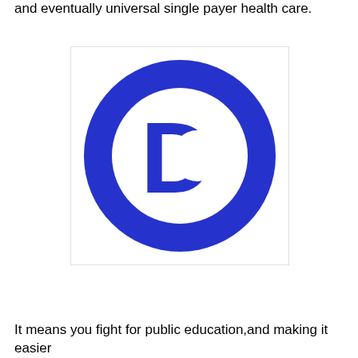and eventually universal single payer health care.
[Figure (logo): Democratic Party logo — blue circle ring with a bold blue letter D in the center on white background]
It means you fight for public education,and making it easier